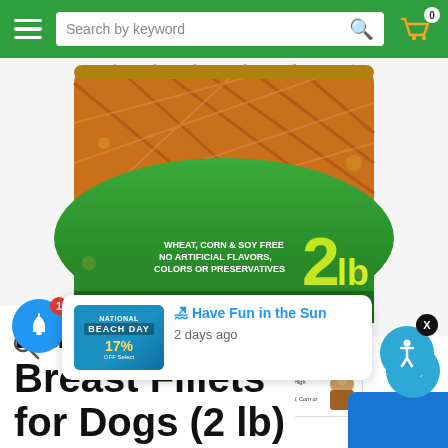Search by keyword
[Figure (photo): Product package of Duckles Duck Breast Fillets for Dogs 2lb. Green and yellow bag showing duck fillet treats. Text on bag: WHEAT, CORN & SOY FREE, NO ARTIFICIAL FLAVORS, COLORS OR PRESERVATIVES, LOW FAT · HIGH PROTEIN, Net Wt. (454 g), 2lb.]
[Figure (photo): Three thumbnail images showing: yellow-green product bag, loose dried duck fillet strips, and Duckles branded packaging with dog image]
🔍
[Figure (infographic): Notification popup showing beach day promotion: Have Fun in the Sun - 2 days ago]
Duckles Duck Breast Fillets for Dogs (2 lb)